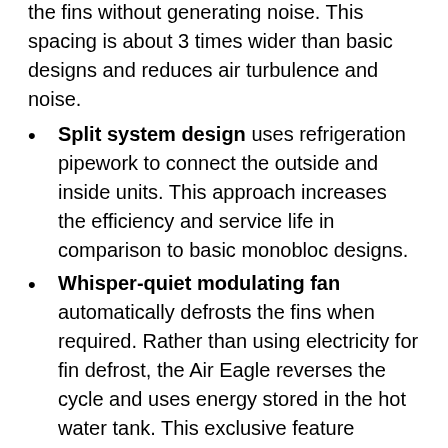the fins without generating noise. This spacing is about 3 times wider than basic designs and reduces air turbulence and noise.
Split system design uses refrigeration pipework to connect the outside and inside units. This approach increases the efficiency and service life in comparison to basic monobloc designs.
Whisper-quiet modulating fan automatically defrosts the fins when required. Rather than using electricity for fin defrost, the Air Eagle reverses the cycle and uses energy stored in the hot water tank. This exclusive feature reduces the running cost.
Powder coated stainless steel and inverter technology developed by